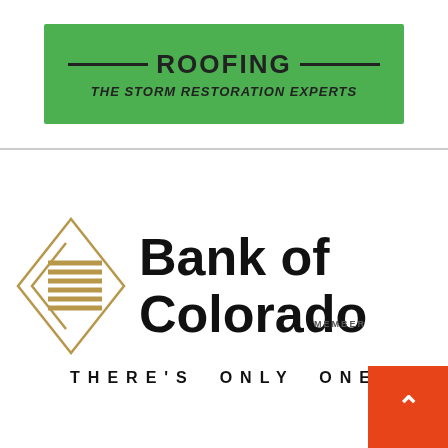[Figure (logo): Roofing company logo on green background with decorative lines flanking the word ROOFING and subtitle THE STORM RESTORATION EXPERTS in bold italic]
[Figure (logo): Bank of Colorado logo featuring a diamond/chevron shape with gold horizontal lines on the left, bold black text 'Bank of Colorado', MEMBER text, and tagline THERE'S ONLY ONE below. Orange scroll-to-top button overlay in bottom right.]